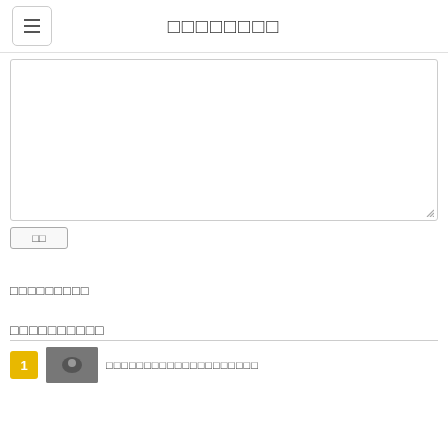□□□□□□□□
[Figure (screenshot): Large empty textarea input box with resize handle at bottom right]
□□
□□□□□□□□□
□□□□□□□□□□
□□□□□□□□□□□□□□□□□□□□